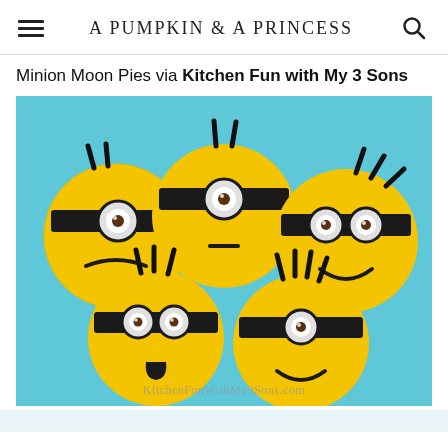A PUMPKIN & A PRINCESS
Minion Moon Pies via Kitchen Fun with My 3 Sons
[Figure (photo): Five yellow minion-decorated moon pies on a light blue background. Each round yellow cookie/pie has been decorated with black licorice as goggles, candy eyes, and expressive faces depicting different emotions. Top left minion has one eye and a frown, top center has one eye and neutral expression, top right has two eyes and a smile, bottom left has two eyes and surprised mouth, bottom right has one eye and a smile.]
KitchenFunWithMy3Sons.com